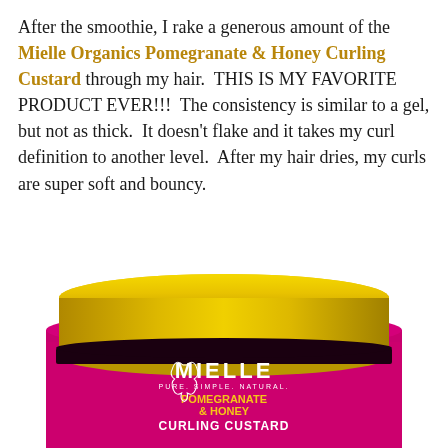After the smoothie, I rake a generous amount of the Mielle Organics Pomegranate & Honey Curling Custard through my hair. THIS IS MY FAVORITE PRODUCT EVER!!! The consistency is similar to a gel, but not as thick. It doesn't flake and it takes my curl definition to another level. After my hair dries, my curls are super soft and bouncy.
[Figure (photo): A jar of Mielle Organics Pomegranate & Honey Curling Custard with a shiny gold lid and a bright pink jar body featuring the Mielle logo and product name.]